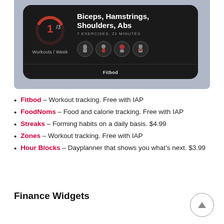[Figure (screenshot): Fitbod app screenshot showing a workout card with 1/3 progress ring, muscle groups (Biceps, Hamstrings, Shoulders, Abs), 7 exercises and 22 minutes, with muscle anatomy icons and Fitbod label]
Fitbod – Workout tracking. Free with IAP
FoodNoms – Food and calorie tracking. Free with IAP
Streaks – Forming habits on a daily basis. $4.99
Zones – Workout tracking. Free with IAP
Hour Blocks – Dayplanner that shows you what's next. $3.99
Finance Widgets